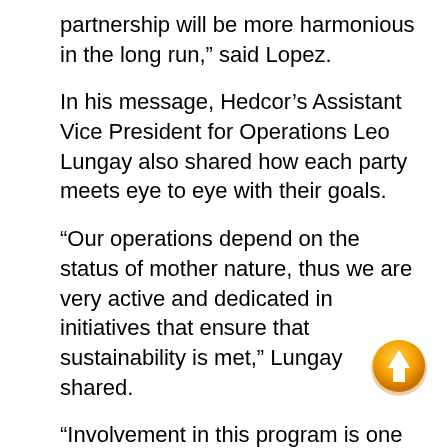partnership will be more harmonious in the long run,” said Lopez.
In his message, Hedcor’s Assistant Vice President for Operations Leo Lungay also shared how each party meets eye to eye with their goals.
“Our operations depend on the status of mother nature, thus we are very active and dedicated in initiatives that ensure that sustainability is met,” Lungay shared.
“Involvement in this program is one of those. And seeing the goals of your organization and this project, it appears that we all have the same objective–we are all for the betterment of the environment and the communities,” he added.
Hedcor is a run-of-river hydropower arm of AboitizPower. It currently operates 22 hydropower facilities in North
[Figure (other): Orange circular button with upward arrow icon (scroll-to-top button)]